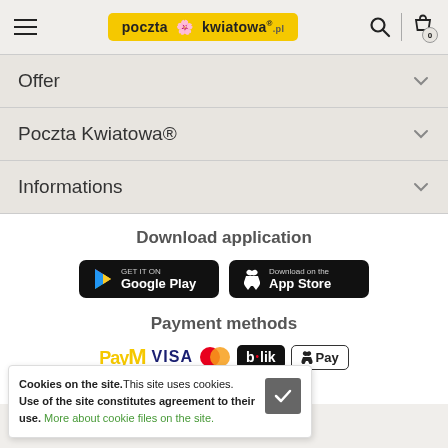[Figure (screenshot): Poczta Kwiatowa website header with hamburger menu, yellow logo, search icon, and cart icon showing 0 items]
Offer
Poczta Kwiatowa®
Informations
Download application
[Figure (screenshot): Two app store badges: GET IT ON Google Play and Download on the App Store]
Payment methods
[Figure (screenshot): Payment method logos: PayM, VISA, MasterCard, BLIK, Apple Pay, PayPal, and more link]
Cookies on the site. This site uses cookies. Use of the site constitutes agreement to their use. More about cookie files on the site.